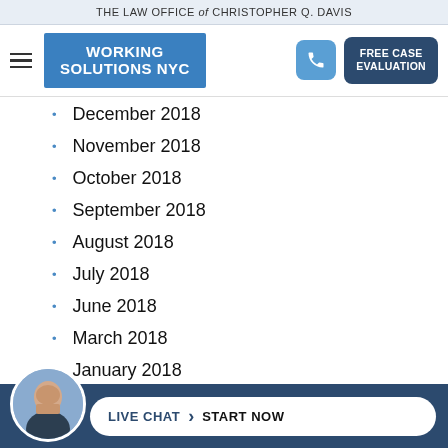THE LAW OFFICE of CHRISTOPHER Q. DAVIS
[Figure (logo): Working Solutions NYC logo — blue rectangle with white bold uppercase text]
December 2018
November 2018
October 2018
September 2018
August 2018
July 2018
June 2018
March 2018
January 2018
December 2017
November 2017
October 2017
LIVE CHAT › START NOW